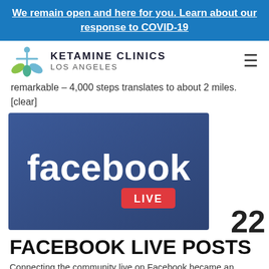We remain open and here for you. Learn about our response to COVID-19
[Figure (logo): Ketamine Clinics Los Angeles logo with a plant/person icon in teal and green]
remarkable – 4,000 steps translates to about 2 miles. [clear]
[Figure (screenshot): Facebook Live logo image — dark blue background with white 'facebook' text and a red 'LIVE' badge]
22
FACEBOOK LIVE POSTS
Connecting the community live on Facebook became an important...